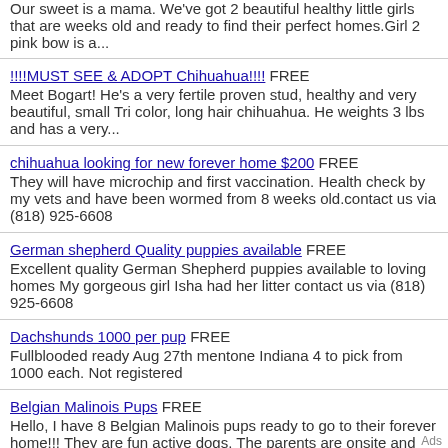Our sweet is a mama. We've got 2 beautiful healthy little girls that are weeks old and ready to find their perfect homes.Girl 2 pink bow is a...
!!!!MUST SEE & ADOPT Chihuahua!!!! FREE
Meet Bogart! He's a very fertile proven stud, healthy and very beautiful, small Tri color, long hair chihuahua. He weights 3 lbs and has a very...
chihuahua looking for new forever home $200 FREE
They will have microchip and first vaccination. Health check by my vets and have been wormed from 8 weeks old.contact us via (818) 925-6608
German shepherd Quality puppies available FREE
Excellent quality German Shepherd puppies available to loving homes My gorgeous girl Isha had her litter contact us via (818) 925-6608
Dachshunds 1000 per pup FREE
Fullblooded ready Aug 27th mentone Indiana 4 to pick from 1000 each. Not registered
Belgian Malinois Pups FREE
Hello, I have 8 Belgian Malinois pups ready to go to their forever home!!! They are fun active dogs. The parents are onsite and have very good...
Free Pets To Good Home? - Adopt A Pet